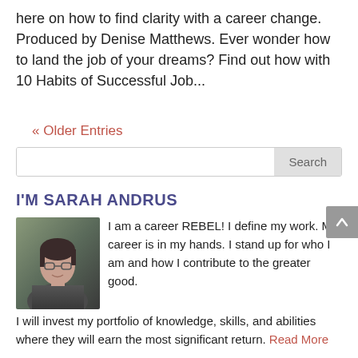here on how to find clarity with a career change. Produced by Denise Matthews. Ever wonder how to land the job of your dreams? Find out how with 10 Habits of Successful Job...
« Older Entries
Search
I'M SARAH ANDRUS
[Figure (photo): Portrait photo of Sarah Andrus, a woman with glasses and dark hair, wearing a grey blazer]
I am a career REBEL! I define my work. My career is in my hands. I stand up for who I am and how I contribute to the greater good. I will invest my portfolio of knowledge, skills, and abilities where they will earn the most significant return. Read More